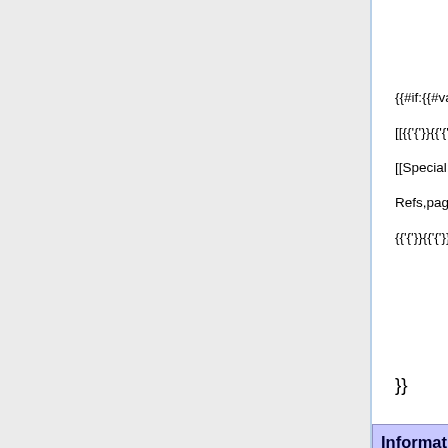{{#if:{{#var:DtArt... ({{#var:DtArtic...
{{#if:{{#var:refs}}|  list help  [[Specia...
[[{{#var:page}}|no_ref's]]|  copy,cat=
[[Special:Call/DT Article show  {{#var:page}},namesp
Refs,page=  [[Special:Call
{{#var:page}},refs=yes|ref's]]}}}  XML,type
{{#var:page}},nar
}}
Information Card Browser Add-On Programmatic detection of Identity Selector via isInstalled method - Maturity: Established {{#if: I1 | (I1 )}}
| Return True from when an Identity Selector is installed and false | Run RP script code that calls | RP sees the installation | Ignore or fail |